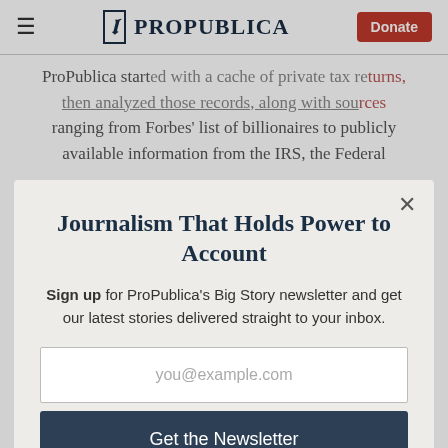ProPublica [logo] PROPUBLICA | Donate
ProPublica started with a cache of private tax returns, then analyzed those records, along with sources ranging from Forbes' list of billionaires to publicly available information from the IRS, the Federal
Journalism That Holds Power to Account
Sign up for ProPublica's Big Story newsletter and get our latest stories delivered straight to your inbox.
you@example.com
Get the Newsletter
No thanks, I'm all set
This site is protected by reCAPTCHA and the Google Privacy Policy and Terms of Service apply.